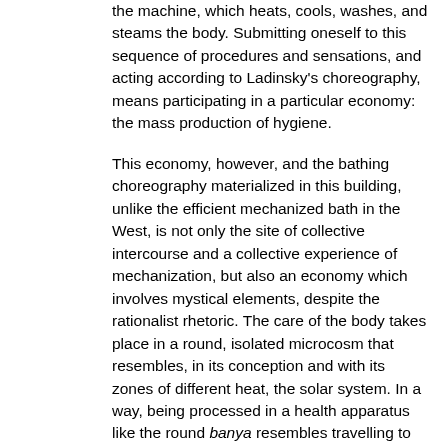the machine, which heats, cools, washes, and steams the body. Submitting oneself to this sequence of procedures and sensations, and acting according to Ladinsky's choreography, means participating in a particular economy: the mass production of hygiene.
This economy, however, and the bathing choreography materialized in this building, unlike the efficient mechanized bath in the West, is not only the site of collective intercourse and a collective experience of mechanization, but also an economy which involves mystical elements, despite the rationalist rhetoric. The care of the body takes place in a round, isolated microcosm that resembles, in its conception and with its zones of different heat, the solar system. In a way, being processed in a health apparatus like the round banya resembles travelling to the center of the world and back. The machine of efficiency does not cease to be a machine of magic, even when it loses spectacular elements, such as the leaping swans, gaping frogs, and sparkly jets of water of the banya in Figure 1. What happens, in effect, is that the microcosm of the round banya presents us with